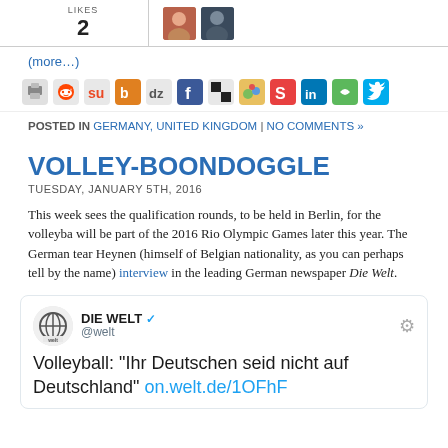LIKES
2
[Figure (illustration): Two small avatar photos of users who liked the post]
(more…)
[Figure (infographic): Row of social sharing icons: print, Reddit, StumbleUpon, Blinklist, Digg, Facebook, Delicious, MySpace, Stumble, LinkedIn, green icon, Twitter]
POSTED IN GERMANY, UNITED KINGDOM | NO COMMENTS »
VOLLEY-BOONDOGGLE
TUESDAY, JANUARY 5TH, 2016
This week sees the qualification rounds, to be held in Berlin, for the volleyball tournament that will be part of the 2016 Rio Olympic Games later this year. The German team's coach, Andrea Heynen (himself of Belgian nationality, as you can perhaps tell by the name) gave a fascinating interview in the leading German newspaper Die Welt.
[Figure (screenshot): Embedded tweet from @welt (Die Welt) showing: Volleyball: "Ihr Deutschen seid nicht auf Deutschland" on.welt.de/1OFhF...]